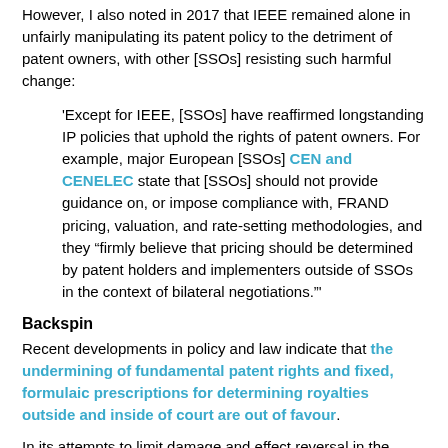However, I also noted in 2017 that IEEE remained alone in unfairly manipulating its patent policy to the detriment of patent owners, with other [SSOs] resisting such harmful change:
'Except for IEEE, [SSOs] have reaffirmed longstanding IP policies that uphold the rights of patent owners. For example, major European [SSOs] CEN and CENELEC state that [SSOs] should not provide guidance on, or impose compliance with, FRAND pricing, valuation, and rate-setting methodologies, and they “firmly believe that pricing should be determined by patent holders and implementers outside of SSOs in the context of bilateral negotiations.”'
Backspin
Recent developments in policy and law indicate that the undermining of fundamental patent rights and fixed, formulaic prescriptions for determining royalties outside and inside of court are out of favour.
In its attempts to limit damage and effect reversal in the direction of policy change, the new BRL states that “[t]he